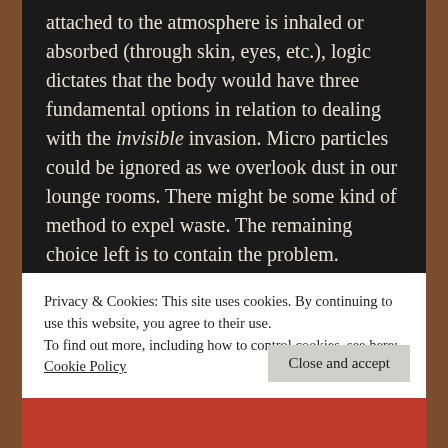attached to the atmosphere is inhaled or absorbed (through skin, eyes, etc.), logic dictates that the body would have three fundamental options in relation to dealing with the invisible invasion. Micro particles could be ignored as we overlook dust in our lounge rooms. There might be some kind of method to expel waste. The remaining choice left is to contain the problem. “Containment” conveniently fits the assimilation model like a glove. How does the expression go? “If the bear won’t come to the mountain, we will bring the mountain to the bear.” In this instance, to “contain” is to convert any invader into a new body part. Thus, micro
Privacy & Cookies: This site uses cookies. By continuing to use this website, you agree to their use.
To find out more, including how to control cookies, see here: Cookie Policy
Close and accept